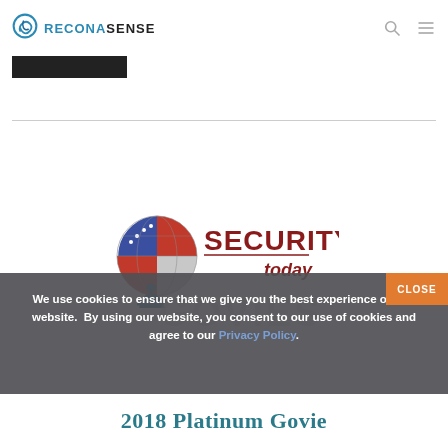RECONASENSE
[Figure (logo): ReconaSense logo with circular blue swirl icon and the text RECONASENSE]
[Figure (logo): Security Today GOVIES award logo with US flag globe and figure graphic]
We use cookies to ensure that we give you the best experience on our website.  By using our website, you consent to our use of cookies and agree to our Privacy Policy.
2018 Platinum Govie